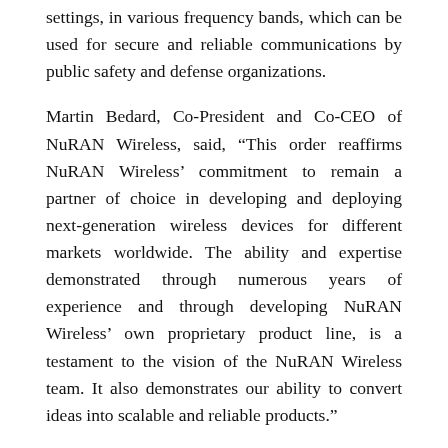settings, in various frequency bands, which can be used for secure and reliable communications by public safety and defense organizations.
Martin Bedard, Co-President and Co-CEO of NuRAN Wireless, said, “This order reaffirms NuRAN Wireless’ commitment to remain a partner of choice in developing and deploying next-generation wireless devices for different markets worldwide. The ability and expertise demonstrated through numerous years of experience and through developing NuRAN Wireless’ own proprietary product line, is a testament to the vision of the NuRAN Wireless team. It also demonstrates our ability to convert ideas into scalable and reliable products.”
ABOUT NURAN WIRELESS
NuRAN Wireless is a leading supplier of mobile and broadband wireless solutions. Its innovative GSM, LTE,